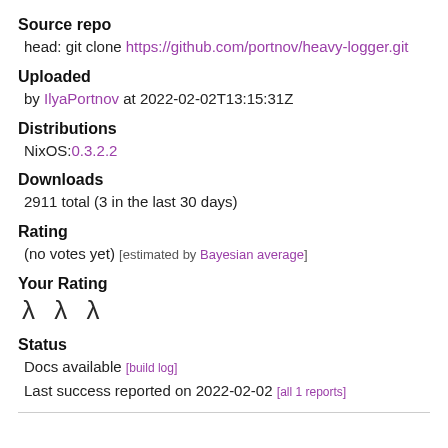Source repo
head: git clone https://github.com/portnov/heavy-logger.git
Uploaded
by IlyaPortnov at 2022-02-02T13:15:31Z
Distributions
NixOS:0.3.2.2
Downloads
2911 total (3 in the last 30 days)
Rating
(no votes yet) [estimated by Bayesian average]
Your Rating
λ λ λ
Status
Docs available [build log]
Last success reported on 2022-02-02 [all 1 reports]